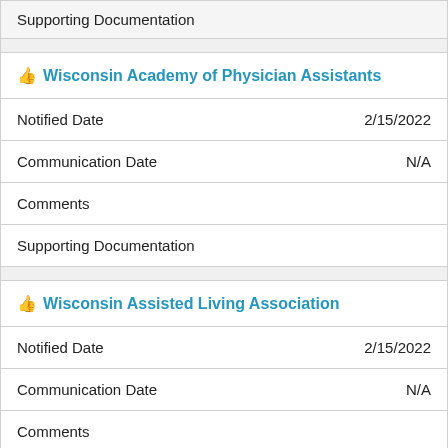Supporting Documentation
Wisconsin Academy of Physician Assistants
Notified Date   2/15/2022
Communication Date   N/A
Comments
Supporting Documentation
Wisconsin Assisted Living Association
Notified Date   2/15/2022
Communication Date   N/A
Comments